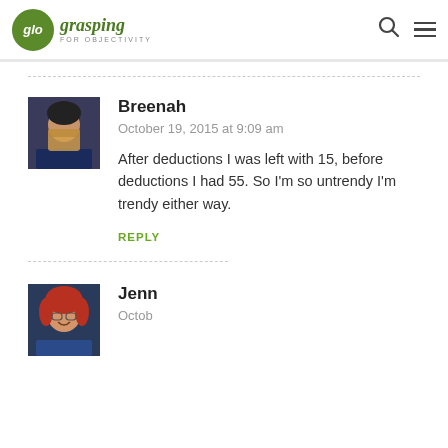glo grasping FOR OBJECTIVITY
[Figure (logo): Grasping for Objectivity blog logo with green circle containing 'glo' and italic green script text]
Breenah
October 19, 2015 at 9:09 am
After deductions I was left with 15, before deductions I had 55. So I'm so untrendy I'm trendy either way.
REPLY
Jenn
Octob